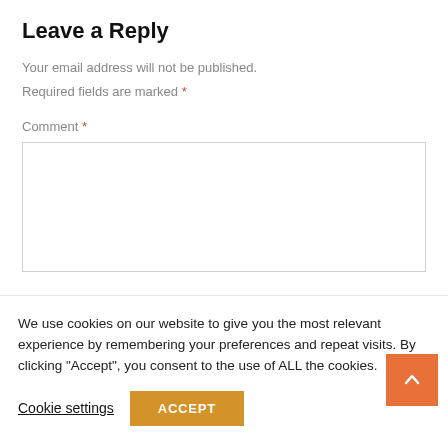Leave a Reply
Your email address will not be published.
Required fields are marked *
Comment *
We use cookies on our website to give you the most relevant experience by remembering your preferences and repeat visits. By clicking “Accept”, you consent to the use of ALL the cookies.
Cookie settings
ACCEPT